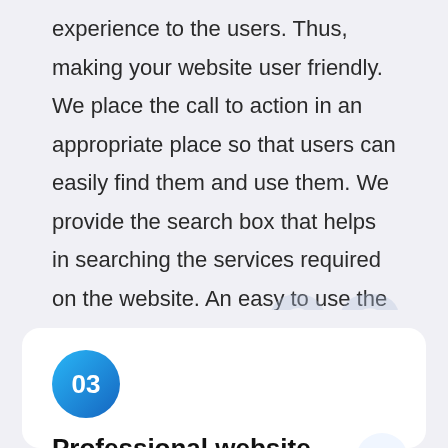experience to the users. Thus, making your website user friendly. We place the call to action in an appropriate place so that users can easily find them and use them. We provide the search box that helps in searching the services required on the website. An easy to use the website is more visited by the users.
[Figure (other): Circular blue gradient badge with bold white number '03']
Professional website designs
Websites designed by us have a sense of professionalism. We make sure that...